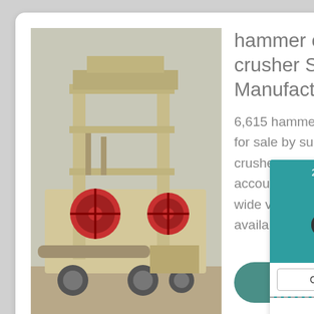[Figure (photo): Industrial hammer crusher machine on wheels, beige/cream colored with red components, photographed outdoors.]
hammer crusher, hammer crusher Suppliers and Manufacturers ...
6,615 hammer crusher products are offered for sale by suppliers on Alibaba, of which crushers accounts for 42%, plastic crushers accounts for 1%, and accounts for 1%. A wide variety of hammer crusher options are available to you, such as 3 years...
[Figure (illustration): Customer support chat widget with teal background showing '24/7 hours online' text, a yellow smiley face emoji with headphones, and a 'Click me to chat >>' button. Below the dashed divider shows 'Enquiry' and email address 'superbrian707@gr...']